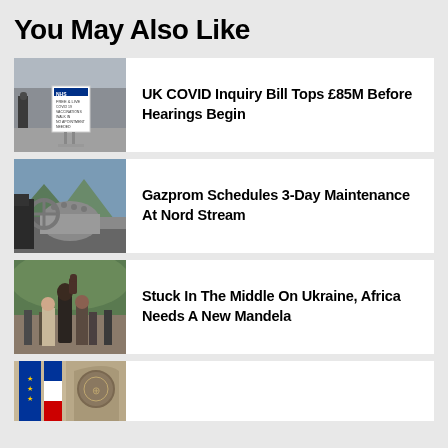You May Also Like
[Figure (photo): NHS COVID-19 vaccination sign on a street]
UK COVID Inquiry Bill Tops £85M Before Hearings Begin
[Figure (photo): Large industrial gas pipeline valve]
Gazprom Schedules 3-Day Maintenance At Nord Stream
[Figure (photo): Man raising fist in crowd at rally]
Stuck In The Middle On Ukraine, Africa Needs A New Mandela
[Figure (photo): Flags and stone building facade]
Putin Moscow Agree To Send First Miss...